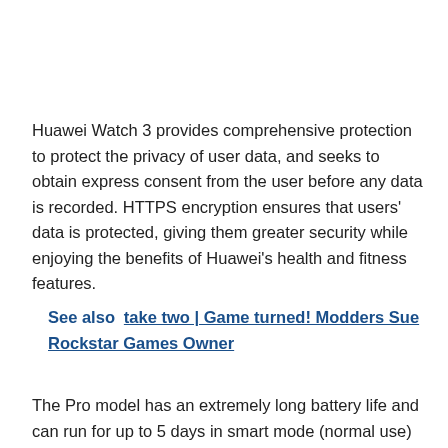Huawei Watch 3 provides comprehensive protection to protect the privacy of user data, and seeks to obtain express consent from the user before any data is recorded. HTTPS encryption ensures that users' data is protected, giving them greater security while enjoying the benefits of Huawei's health and fitness features.
See also  take two | Game turned! Modders Sue Rockstar Games Owner
The Pro model has an extremely long battery life and can run for up to 5 days in smart mode (normal use) and up to